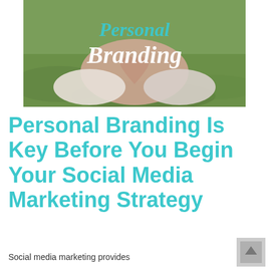[Figure (photo): Photo of hands forming a heart shape on grass background with text 'Personal Branding' overlaid in teal and white cursive/brush font]
Personal Branding Is Key Before You Begin Your Social Media Marketing Strategy
Social media marketing provides